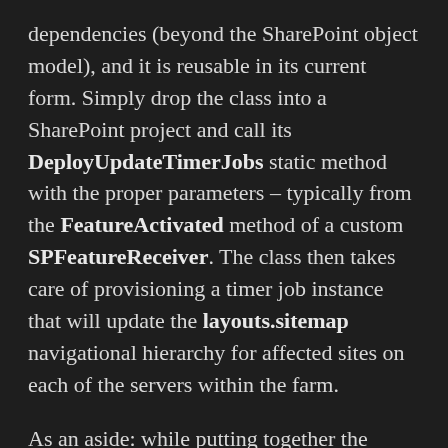dependencies (beyond the SharePoint object model), and it is reusable in its current form. Simply drop the class into a SharePoint project and call its DeployUpdateTimerJobs static method with the proper parameters – typically from the FeatureActivated method of a custom SPFeatureReceiver. The class then takes care of provisioning a timer job instance that will update the layouts.sitemap navigational hierarchy for affected sites on each of the servers within the farm.
As an aside: while putting together the UpdateLayoutsSitemapTimerJob, there were times when I thought I had to be missing something. On a handful of occasions, I found